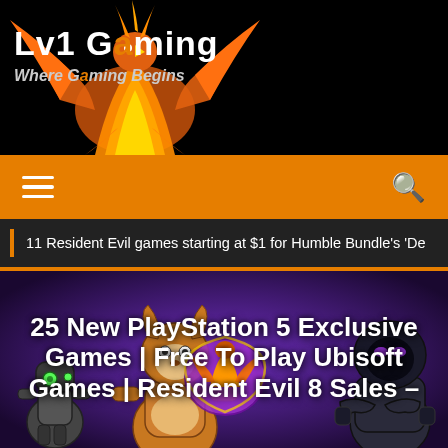[Figure (logo): Lv1 Gaming website header with phoenix mascot logo on black background]
Lv1 Gaming
Where Gaming Begins
[Figure (infographic): Orange navigation bar with hamburger menu icon on left and search icon on right]
11 Resident Evil games starting at $1 for Humble Bundle's 'De
[Figure (photo): Hero image showing video game characters including Ratchet & Clank, a Fortnite character, and a robot on a purple/dark background]
25 New PlayStation 5 Exclusive Games | Free To Play Ubisoft Games | Resident Evil 8 Sales –